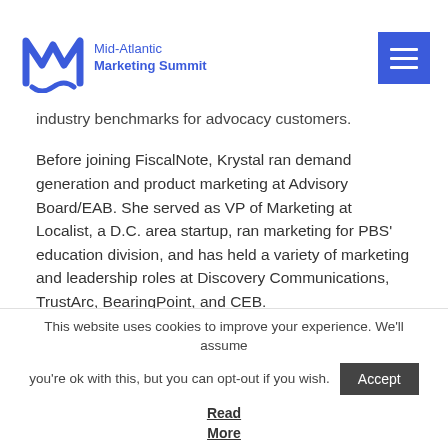Mid-Atlantic Marketing Summit
industry benchmarks for advocacy customers.
Before joining FiscalNote, Krystal ran demand generation and product marketing at Advisory Board/EAB. She served as VP of Marketing at Localist, a D.C. area startup, ran marketing for PBS' education division, and has held a variety of marketing and leadership roles at Discovery Communications, TrustArc, BearingPoint, and CEB.
In both 2021 and 2020, Krystal was recognized as a Star CMO by DCA Live.  She serves as a Member, Board of Advisors for Media4Math, Founding Member of Chief DC, and is a Sustainer for the Junior League of Washington D.C. Krystal holds an MBA
This website uses cookies to improve your experience. We'll assume you're ok with this, but you can opt-out if you wish. Accept Read More